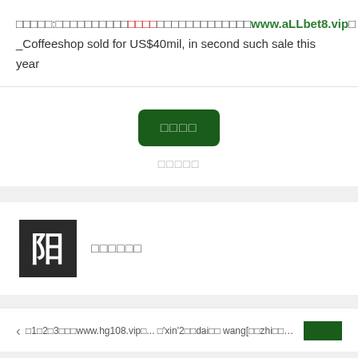□□□□□:□□□□□□□□□□□□□□□□□□□□□□□www.aLLbet8.vip□_Coffeeshop sold for US$40mil, in second such sale this year
[Figure (other): Dark green rounded button with CJK characters]
□□□□□
[Figure (other): Author avatar: dark square with Chinese character 阳]
□□□□□□
◁ □1□2□3□□□www.hg108.vip□... □'xin'2□□dai□□ wang[□□zhi□□ww...